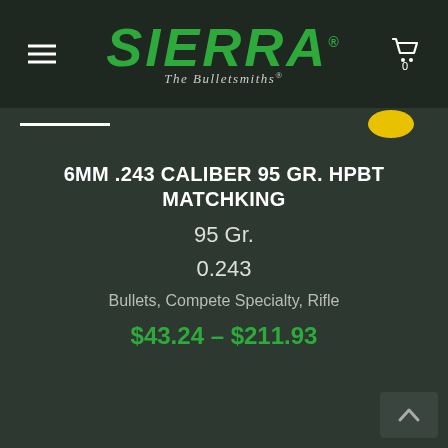[Figure (logo): Sierra Bullets logo — green bold italic SIERRA text with tagline 'The Bulletsmiths®']
6MM .243 CALIBER 95 GR. HPBT MATCHKING
95 Gr.
0.243
Bullets, Compete Specialty, Rifle
$43.24 – $211.93